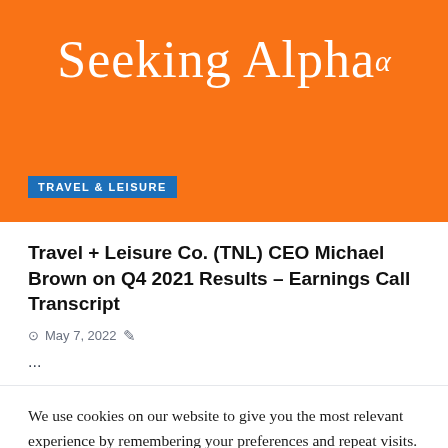[Figure (logo): Seeking Alpha logo — white text on orange gradient banner background, with alpha symbol superscript]
TRAVEL & LEISURE
Travel + Leisure Co. (TNL) CEO Michael Brown on Q4 2021 Results – Earnings Call Transcript
May 7, 2022
...
We use cookies on our website to give you the most relevant experience by remembering your preferences and repeat visits. By clicking "Accept All", you consent to the use of ALL the cookies. However, you may visit "Cookie Settings" to provide a controlled consent.